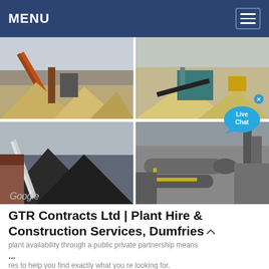MENU
[Figure (photo): Four-panel photo grid showing industrial plant and construction equipment: top-left shows a conveyor belt and aggregate processing plant with orange steel structures; top-right shows a quarry processing site with machinery and sand piles; bottom-left shows a coal conveyor belt system with large coal stockpile; bottom-right shows industrial rotary kilns or large cylindrical processing equipment with yellow walkways.]
GTR Contracts Ltd | Plant Hire & Construction Services, Dumfries…